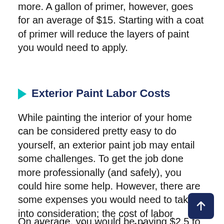more. A gallon of primer, however, goes for an average of $15. Starting with a coat of primer will reduce the layers of paint you would need to apply.
Exterior Paint Labor Costs
While painting the interior of your home can be considered pretty easy to do yourself, an exterior paint job may entail some challenges. To get the job done more professionally (and safely), you could hire some help. However, there are some expenses you would need to take into consideration; the cost of labor usually exceeds the rest of the expenses involved in this type of project.
On average, you would be paying $2.5 to $4...